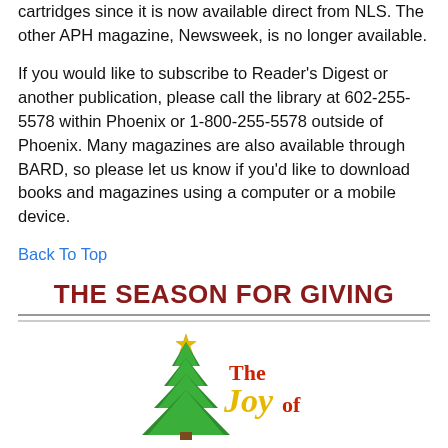cartridges since it is now available direct from NLS. The other APH magazine, Newsweek, is no longer available.
If you would like to subscribe to Reader's Digest or another publication, please call the library at 602-255-5578 within Phoenix or 1-800-255-5578 outside of Phoenix. Many magazines are also available through BARD, so please let us know if you'd like to download books and magazines using a computer or a mobile device.
Back To Top
THE SEASON FOR GIVING
[Figure (logo): Christmas tree logo with the text 'The Joy of' in red and gold lettering]